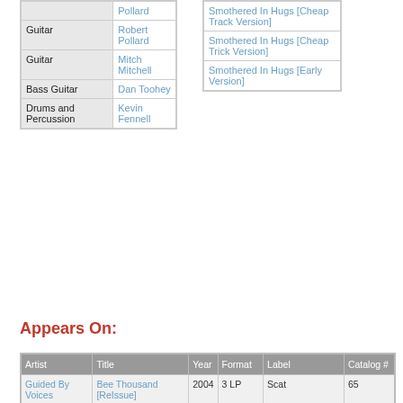| Instrument | Player |
| --- | --- |
| Guitar | Robert Pollard |
| Guitar | Mitch Mitchell |
| Bass Guitar | Dan Toohey |
| Drums and Percussion | Kevin Fennell |
| Track |
| --- |
| Smothered In Hugs [Cheap Track Version] |
| Smothered In Hugs [Cheap Trick Version] |
| Smothered In Hugs [Early Version] |
Appears On:
| Artist | Title | Year | Format | Label | Catalog # |
| --- | --- | --- | --- | --- | --- |
| Guided By Voices | Bee Thousand [ReIssue] | 2004 | 3 LP | Scat | 65 |
| Guided By Voices | Bee Thousand [ReIssue] | 2004 | CD | Scat | 65 |
| Guided By Voices | Bee Thousand | 1995 | CD | King Records/Scat | KICP 462 |
| Guided By Voices | Bee Thousand | 1994 | LP | Scat | 35-1 |
| Guided By Voices | Bee Thousand | 1994 | Cassette | Scat | 35-4 |
| Guided By Voices | Bee Thousand | 1994 | CD | Scat | 35 |
| Guided By Voices | Bee Thousand [ReIssue] | 1994 | LP | Matador | OLE 084-1 |
| Guided By Voices | Bee Thousand [ReIssue] | 1994 | CD | Matador | OLE |